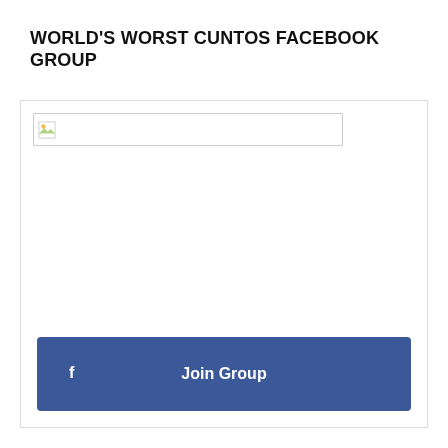WORLD'S WORST CUNTOS FACEBOOK GROUP
[Figure (screenshot): A Facebook group card showing 'World's Worst Cuntos' group with a broken image placeholder at the top, group name and member count (119 members), and a blue 'Join Group' button with a Facebook icon.]